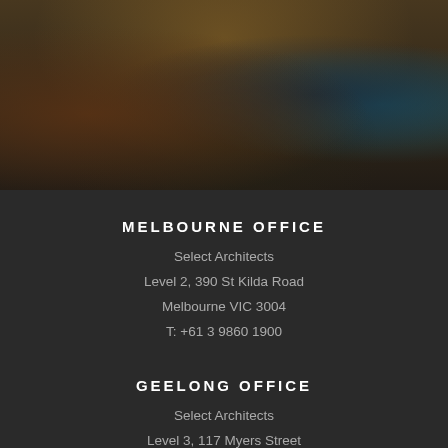[Figure (photo): Blurred interior architectural photo with warm and cool tones, dark background]
MELBOURNE OFFICE
Select Architects
Level 2, 390 St Kilda Road
Melbourne VIC 3004
T: +61 3 9860 1900
GEELONG OFFICE
Select Architects
Level 3, 117 Myers Street